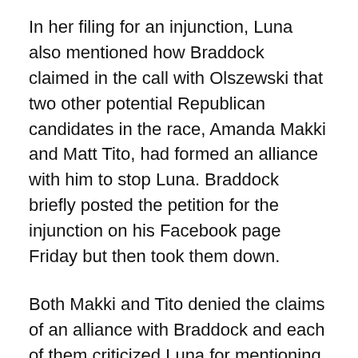In her filing for an injunction, Luna also mentioned how Braddock claimed in the call with Olszewski that two other potential Republican candidates in the race, Amanda Makki and Matt Tito, had formed an alliance with him to stop Luna. Braddock briefly posted the petition for the injunction on his Facebook page Friday but then took them down.
Both Makki and Tito denied the claims of an alliance with Braddock and each of them criticized Luna for mentioning their names in the injunction she filed against Braddock.
“The fact she dragged me through the mud, after not seeing or talking to me after 11 months, it really calls into question her